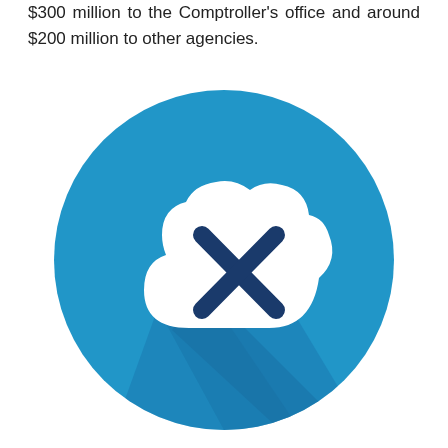$300 million to the Comptroller's office and around $200 million to other agencies.
[Figure (illustration): A flat-design icon of a cloud with an X mark inside it, set on a circular blue background. The cloud is white with a dark blue X symbol. There is a long shadow effect cast by the cloud to the lower right. A small settings/gear icon appears in the lower right of the circle.]